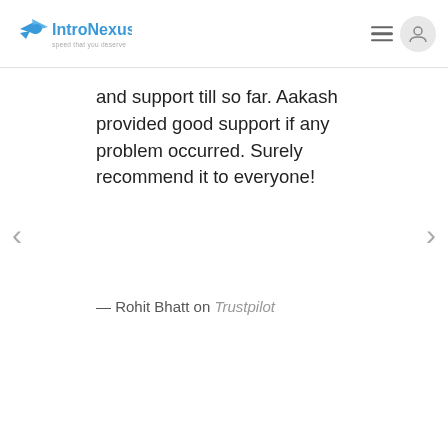IntroNexus — speed that you deserve
and support till so far. Aakash provided good support if any problem occurred. Surely recommend it to everyone!
— Rohit Bhatt on Trustpilot